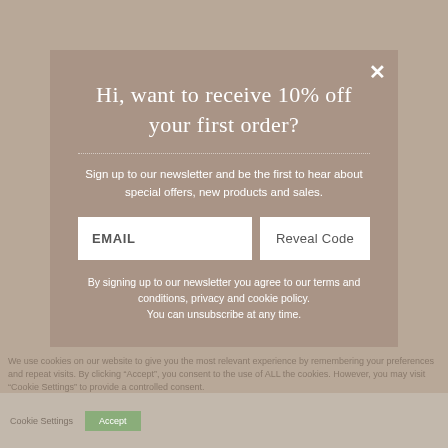Hi, want to receive 10% off your first order?
Sign up to our newsletter and be the first to hear about special offers, new products and sales.
EMAIL
Reveal Code
By signing up to our newsletter you agree to our terms and conditions, privacy and cookie policy.
You can unsubscribe at any time.